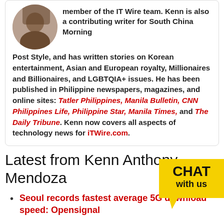member of the IT Wire team. Kenn is also a contributing writer for South China Morning Post Style, and has written stories on Korean entertainment, Asian and European royalty, Millionaires and Billionaires, and LGBTQIA+ issues. He has been published in Philippine newspapers, magazines, and online sites: Tatler Philippines, Manila Bulletin, CNN Philippines Life, Philippine Star, Manila Times, and The Daily Tribune. Kenn now covers all aspects of technology news for iTWire.com.
[Figure (photo): Circular author photo showing a person, partially visible at top left of the bio box]
Latest from Kenn Anthony Mendoza
Seoul records fastest average 5G download speed: Opensignal
FirstWave launches CyberCision platform for IT service providers
Optus showcases 5G full scale remote drive with Sunswift Racing Project
[Figure (illustration): Chat with us widget - yellow speech bubble with black text CHAT with us]